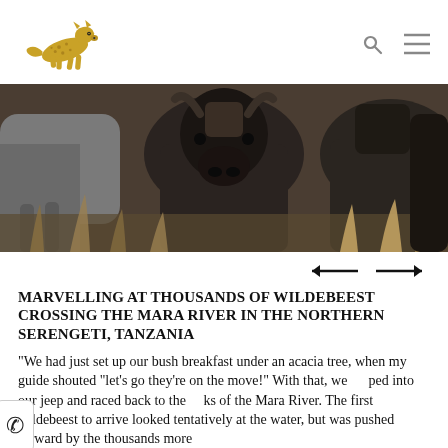Logo and navigation icons
[Figure (photo): Close-up photograph of a herd of wildebeest in dry grass, showing their dark faces and horns crowded together]
[Figure (other): Left and right navigation arrows]
MARVELLING AT THOUSANDS OF WILDEBEEST CROSSING THE MARA RIVER IN THE NORTHERN SERENGETI, TANZANIA
"We had just set up our bush breakfast under an acacia tree, when my guide shouted "let's go they're on the move!" With that, we ped into our jeep and raced back to the ks of the Mara River. The first wildebeest to arrive looked tentatively at the water, but was pushed forward by the thousands more